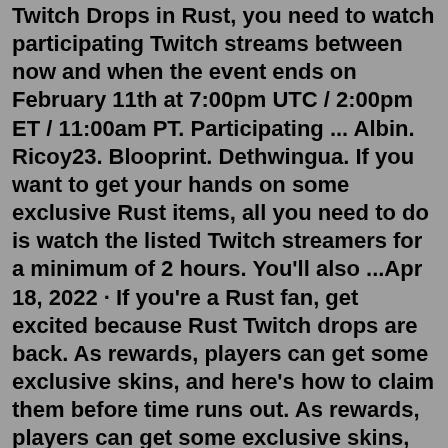Twitch Drops in Rust, you need to watch participating Twitch streams between now and when the event ends on February 11th at 7:00pm UTC / 2:00pm ET / 11:00am PT. Participating ... Albin. Ricoy23. Blooprint. Dethwingua. If you want to get your hands on some exclusive Rust items, all you need to do is watch the listed Twitch streamers for a minimum of 2 hours. You'll also ...Apr 18, 2022 · If you're a Rust fan, get excited because Rust Twitch drops are back. As rewards, players can get some exclusive skins, and here's how to claim them before time runs out. As rewards, players can get some exclusive skins, and here's how to claim them before time runs out. Rust Twitch Drops Round 6. These are all the streamers that have been granted exclusive cosmetic items in Round 6, ranging from weapon skins to hoodies to garage doors. Viewers will need to link their Rust account to their Twitch account and watch each streamer for a set time. Times range from two hours to six and are listed above. Jan 19, 2021 ·